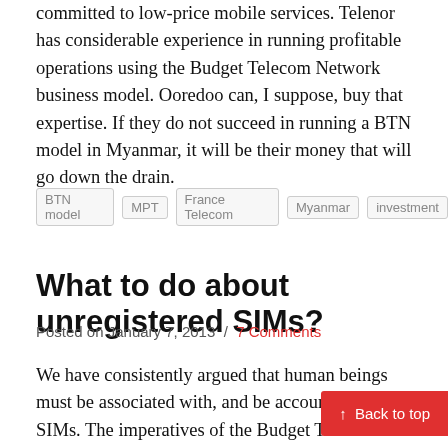committed to low-price mobile services. Telenor has considerable experience in running profitable operations using the Budget Telecom Network business model. Ooredoo can, I suppose, buy that expertise. If they do not succeed in running a BTN model in Myanmar, it will be their money that will go down the drain.
BTN model
MPT
France Telecom
Myanmar
investment
What to do about unregistered SIMs?
Posted on January 7, 2013 / 7 Comments
We have consistently argued that human beings must be associated with, and be accountable for, SIMs. The imperatives of the Budget Telecom Network Model cause companies (or more, the thousands of resellers who interact with customers) to give away SIMs without too
↑ Back to top